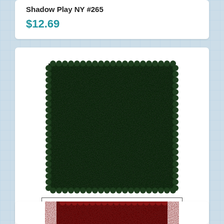Shadow Play NY #265
$12.69
[Figure (photo): Dark forest green fabric swatch with scalloped/pinking shear edges and a ruler scale below showing measurement marking at 1 inch]
PRODUCT
Shadow Play GX #309
$12.69
[Figure (photo): Partial view of a dark red/burgundy fabric swatch at bottom of page]